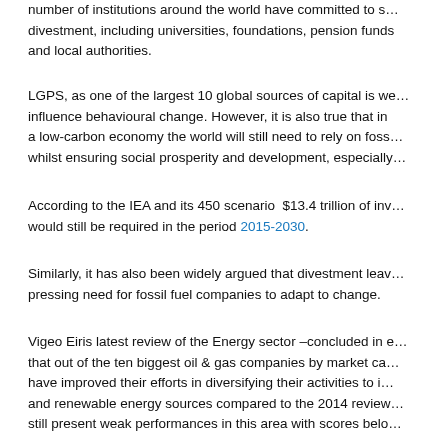number of institutions around the world have committed to s... divestment, including universities, foundations, pension funds and local authorities.
LGPS, as one of the largest 10 global sources of capital is we... influence behavioural change. However, it is also true that in a low-carbon economy the world will still need to rely on foss... whilst ensuring social prosperity and development, especially...
According to the IEA and its 450 scenario $13.4 trillion of inv... would still be required in the period 2015-2030.
Similarly, it has also been widely argued that divestment leav... pressing need for fossil fuel companies to adapt to change.
Vigeo Eiris latest review of the Energy sector –concluded in e... that out of the ten biggest oil & gas companies by market ca... have improved their efforts in diversifying their activities to i... and renewable energy sources compared to the 2014 review... still present weak performances in this area with scores belo...